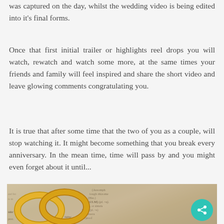was captured on the day, whilst the wedding video is being edited into it's final forms.
Once that first initial trailer or highlights reel drops you will watch, rewatch and watch some more, at the same times your friends and family will feel inspired and share the short video and leave glowing comments congratulating you.
It is true that after some time that the two of you as a couple, will stop watching it. It might become something that you break every anniversary. In the mean time, time will pass by and you might even forget about it until...
[Figure (photo): Two gold wedding rings placed on top of an open dictionary or book page, with a teal/turquoise share button overlay in the bottom right corner.]